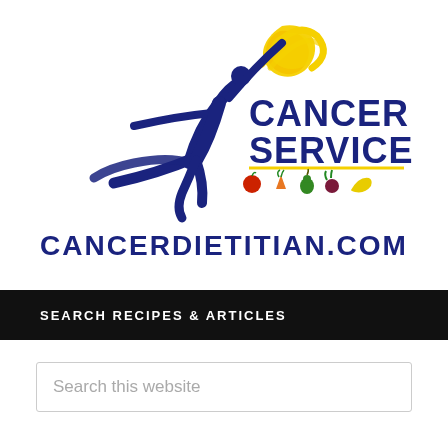[Figure (logo): Cancer Services logo with a dancing human figure in dark navy blue, a yellow swirl above, colorful fruit icons (apple, carrot, pear, beet, banana) below the text 'CANCER SERVICES', and 'CANCERDIETITIAN.COM' in bold navy uppercase below]
SEARCH RECIPES & ARTICLES
Search this website